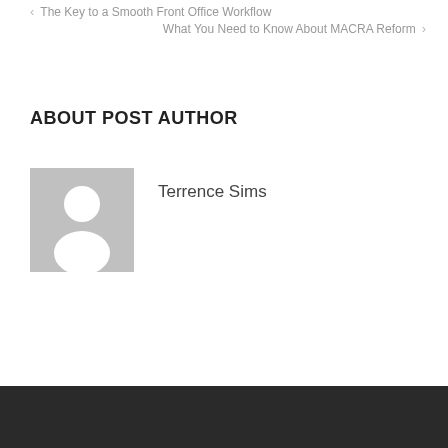< The Key to a Smooth Front Office Workflow
What You Need to Know About MACRA Reform >
ABOUT POST AUTHOR
[Figure (photo): Default user avatar placeholder — grey background with white silhouette of a person (head and shoulders)]
Terrence Sims